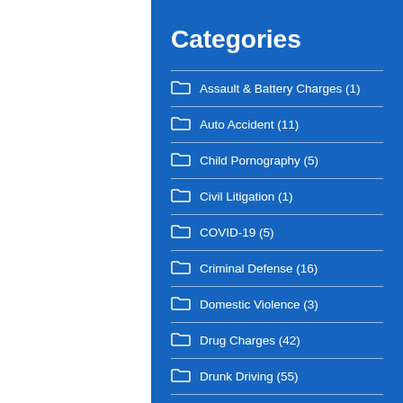Categories
Assault & Battery Charges (1)
Auto Accident (11)
Child Pornography (5)
Civil Litigation (1)
COVID-19 (5)
Criminal Defense (16)
Domestic Violence (3)
Drug Charges (42)
Drunk Driving (55)